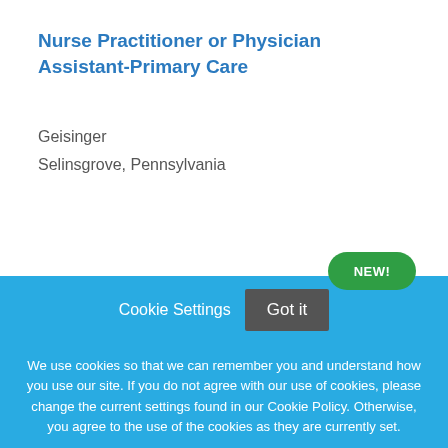Nurse Practitioner or Physician Assistant-Primary Care
Geisinger
Selinsgrove, Pennsylvania
[Figure (other): Green rounded badge/pill with text NEW!]
Cookie Settings  Got it
We use cookies so that we can remember you and understand how you use our site. If you do not agree with our use of cookies, please change the current settings found in our Cookie Policy. Otherwise, you agree to the use of the cookies as they are currently set.